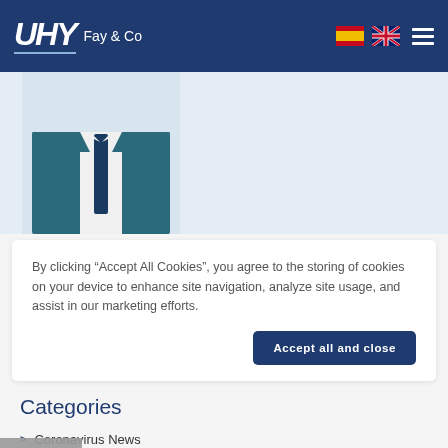UHY Fay & Co
[Figure (photo): Partial photo of a man in a teal/blue suit with a tie, torso visible, head cropped out]
By clicking “Accept All Cookies”, you agree to the storing of cookies on your device to enhance site navigation, analyze site usage, and assist in our marketing efforts.
Accept all and close
Categories
Coronavirus News
Featured News
Fiscal News